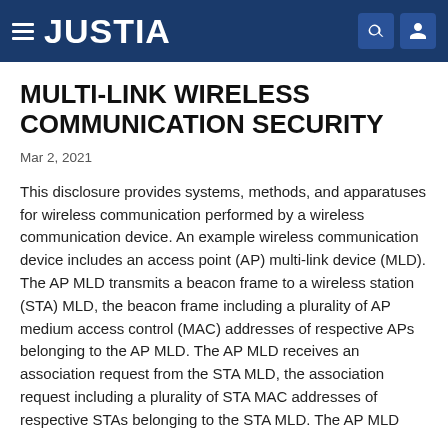JUSTIA
MULTI-LINK WIRELESS COMMUNICATION SECURITY
Mar 2, 2021
This disclosure provides systems, methods, and apparatuses for wireless communication performed by a wireless communication device. An example wireless communication device includes an access point (AP) multi-link device (MLD). The AP MLD transmits a beacon frame to a wireless station (STA) MLD, the beacon frame including a plurality of AP medium access control (MAC) addresses of respective APs belonging to the AP MLD. The AP MLD receives an association request from the STA MLD, the association request including a plurality of STA MAC addresses of respective STAs belonging to the STA MLD. The AP MLD...